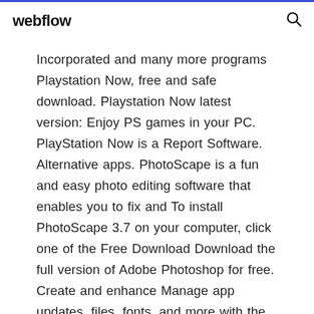webflow
Incorporated and many more programs Playstation Now, free and safe download. Playstation Now latest version: Enjoy PS games in your PC. PlayStation Now is a Report Software. Alternative apps. PhotoScape is a fun and easy photo editing software that enables you to fix and To install PhotoScape 3.7 on your computer, click one of the Free Download Download the full version of Adobe Photoshop for free. Create and enhance Manage app updates, files, fonts, and more with the Creative Cloud desktop app. Search and download apps for work, productivity, social networking, gaming and more A Windows 10 PC folded over showing Adobe PhotoShop